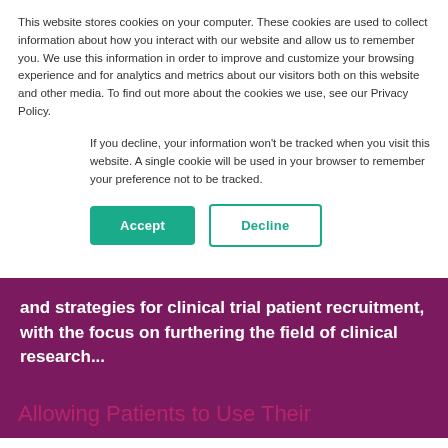This website stores cookies on your computer. These cookies are used to collect information about how you interact with our website and allow us to remember you. We use this information in order to improve and customize your browsing experience and for analytics and metrics about our visitors both on this website and other media. To find out more about the cookies we use, see our Privacy Policy.
If you decline, your information won't be tracked when you visit this website. A single cookie will be used in your browser to remember your preference not to be tracked.
and strategies for clinical trial patient recruitment, with the focus on furthering the field of clinical research...
Allowing Patients to Use Their